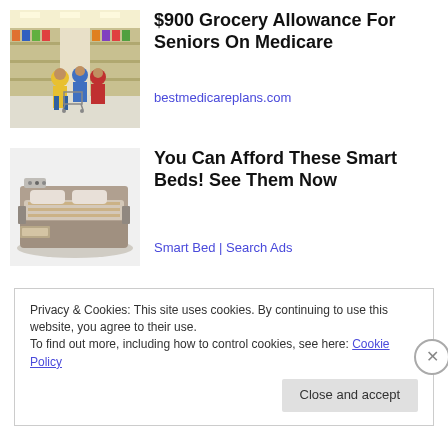[Figure (photo): People shopping in a grocery store aisle with carts]
$900 Grocery Allowance For Seniors On Medicare
bestmedicareplans.com
[Figure (photo): A modern adjustable smart bed with storage and features]
You Can Afford These Smart Beds! See Them Now
Smart Bed | Search Ads
Privacy & Cookies: This site uses cookies. By continuing to use this website, you agree to their use.
To find out more, including how to control cookies, see here: Cookie Policy
Close and accept